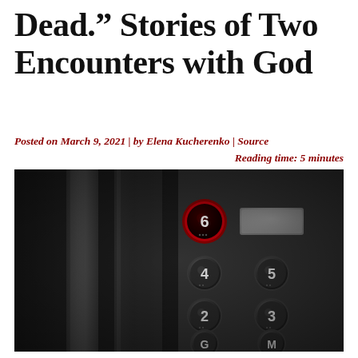Dead.” Stories of Two Encounters with God
Posted on March 9, 2021 | by Elena Kucherenko | Source
Reading time: 5 minutes
[Figure (photo): Close-up photograph of elevator floor buttons panel. Buttons numbered 6 (illuminated with red ring), 4, 5, 2, 3, G, M on a dark metallic panel. Button 6 is highlighted in red.]